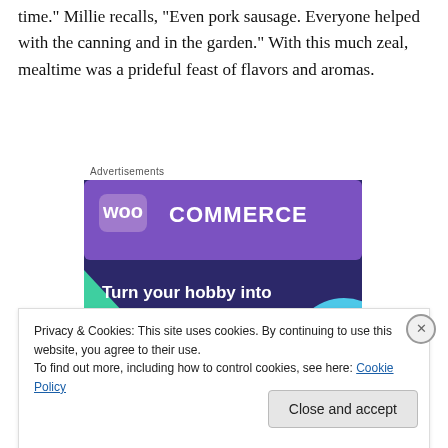time." Millie recalls, "Even pork sausage. Everyone helped with the canning and in the garden." With this much zeal, mealtime was a prideful feast of flavors and aromas.
Advertisements
[Figure (illustration): WooCommerce advertisement banner with dark purple background, teal triangle on left, light blue circle on right, WooCommerce logo at top, text reading 'Turn your hobby into a business in 8 steps']
Privacy & Cookies: This site uses cookies. By continuing to use this website, you agree to their use.
To find out more, including how to control cookies, see here: Cookie Policy
Close and accept